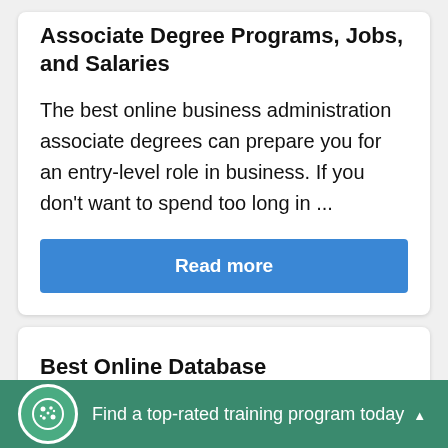Associate Degree Programs, Jobs, and Salaries
The best online business administration associate degrees can prepare you for an entry-level role in business. If you don't want to spend too long in ...
Read more
Best Online Database Administration Associate Degree Programs, Jobs, and Salaries
Find a top-rated training program today ▲